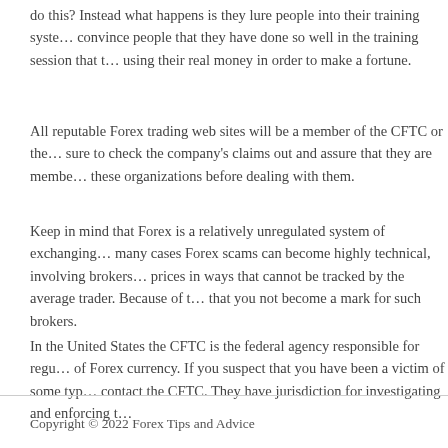do this? Instead what happens is they lure people into their training system, convince people that they have done so well in the training session that they are using their real money in order to make a fortune.
All reputable Forex trading web sites will be a member of the CFTC or the NFA. Be sure to check the company's claims out and assure that they are members of these organizations before dealing with them.
Keep in mind that Forex is a relatively unregulated system of exchanging money, many cases Forex scams can become highly technical, involving brokers who adjust prices in ways that cannot be tracked by the average trader. Because of this, be sure that you not become a mark for such brokers.
In the United States the CFTC is the federal agency responsible for regulating trading of Forex currency. If you suspect that you have been a victim of some type of scam, contact the CFTC. They have jurisdiction for investigating and enforcing the law.
Copyright © 2022 Forex Tips and Advice